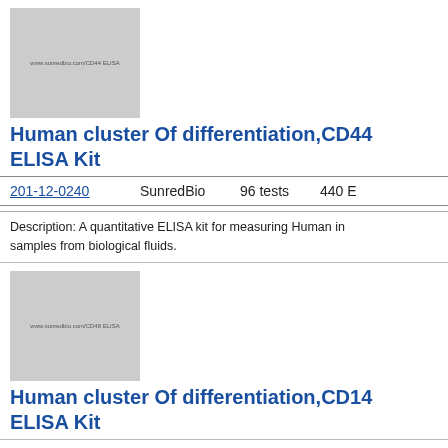[Figure (photo): Product image placeholder for Human cluster Of differentiation CD44 ELISA Kit with label text]
Human cluster Of differentiation,CD44 ELISA Kit
| 201-12-0240 | SunredBio | 96 tests | 440 E |
| --- | --- | --- | --- |
Description: A quantitative ELISA kit for measuring Human in samples from biological fluids.
[Figure (photo): Product image placeholder for Human cluster Of differentiation CD48 ELISA Kit with label text]
Human cluster Of differentiation,CD14 ELISA Kit